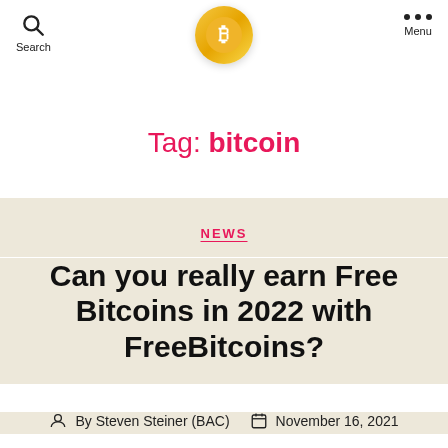Search | [Bitcoin logo] | Menu
Tag: bitcoin
NEWS
Can you really earn Free Bitcoins in 2022 with FreeBitcoins?
By Steven Steiner (BAC) | November 16, 2021